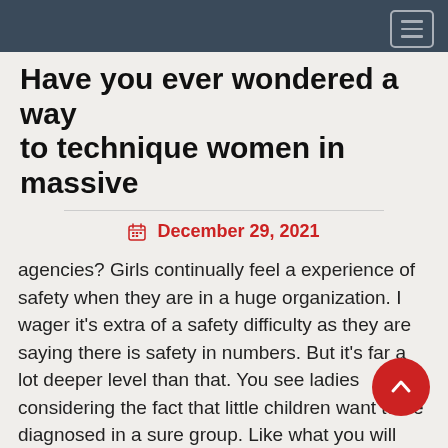Navigation bar
Have you ever wondered a way to technique women in massive
December 29, 2021
agencies? Girls continually feel a experience of safety when they are in a huge organization. I wager it's extra of a safety difficulty as they are saying there is safety in numbers. But it's far a lot deeper level than that. You see ladies considering the fact that little children want to be diagnosed in a sure group. Like what you will name a clique. For example, in high school all of the famous lad might be cheerleaders and they'd regularly b together. Well this form of conduct can nonetheless be carried onto the adult years.